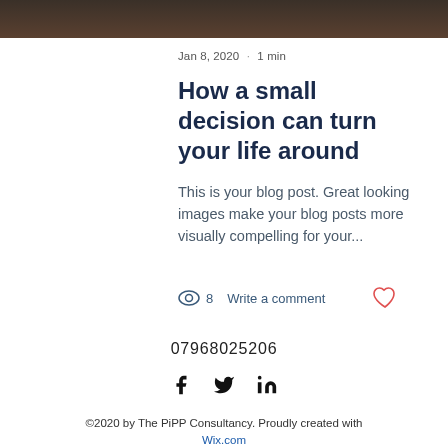[Figure (photo): Dark hero image banner at top of page]
Jan 8, 2020 · 1 min
How a small decision can turn your life around
This is your blog post. Great looking images make your blog posts more visually compelling for your...
👁 8   Write a comment   ♡
07968025206
[Figure (illustration): Social media icons: Facebook, Twitter, LinkedIn]
©2020 by The PiPP Consultancy. Proudly created with Wix.com